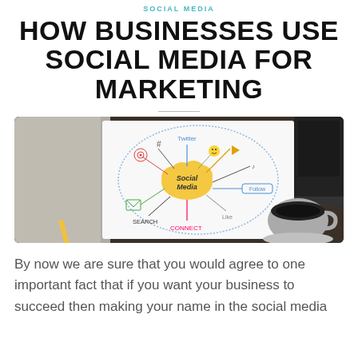SOCIAL MEDIA
HOW BUSINESSES USE SOCIAL MEDIA FOR MARKETING
[Figure (photo): A hand-drawn social media mind map on paper, surrounded by a notebook, pencil, laptop keyboard, and a cup of black coffee. The mind map has a cloud labeled 'Social Media' in the center with icons and terms like 'Follow', 'Search', 'Connect' around it.]
By now we are sure that you would agree to one important fact that if you want your business to succeed then making your name in the social media